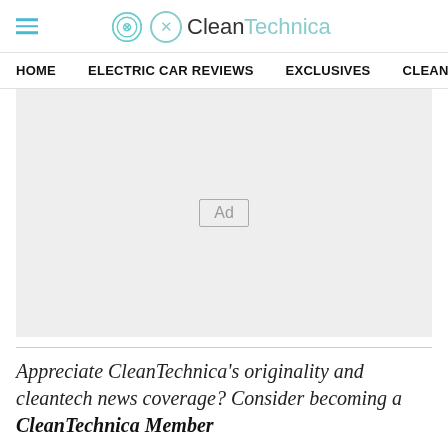CleanTechnica
HOME   ELECTRIC CAR REVIEWS   EXCLUSIVES   CLEANTECHN
[Figure (other): Advertisement placeholder block with 'Ad' label in center]
Appreciate CleanTechnica's originality and cleantech news coverage? Consider becoming a CleanTechnica Member